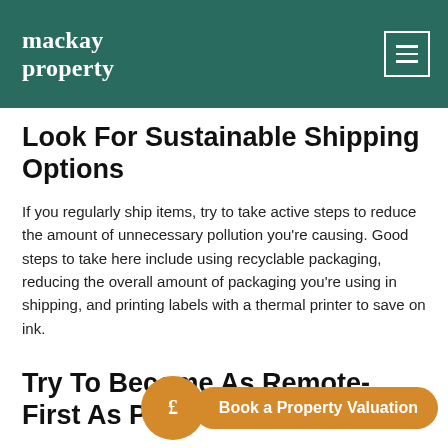mackay property
Look For Sustainable Shipping Options
If you regularly ship items, try to take active steps to reduce the amount of unnecessary pollution you're causing. Good steps to take here include using recyclable packaging, reducing the overall amount of packaging you're using in shipping, and printing labels with a thermal printer to save on ink.
Try To Become As Remote-First As Possible
While we've already how an online platform doesn't necessarily mean completely need to commute and and energy bills won't be totally removed, but it will take you a
[Figure (other): Orange circular badge with pound (£) sign icon and call-to-action button reading 'Book a Property Valuation']